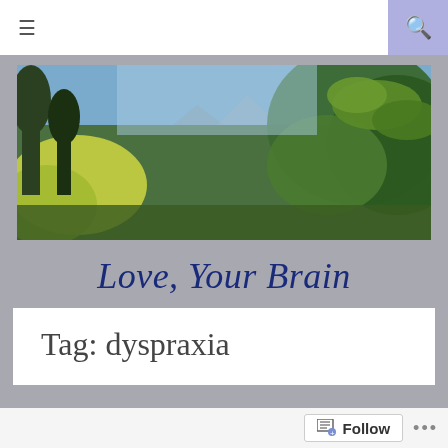[Figure (screenshot): Website navigation bar with hamburger menu icon on left and search icon on right with purple/lavender background]
[Figure (photo): Nature banner photo showing trees, green foliage, blue sky, and mountains in the background]
Love, Your Brain
Tag: dyspraxia
[Figure (photo): Partial view of another photo at the bottom of the page, dark tones]
Follow ...